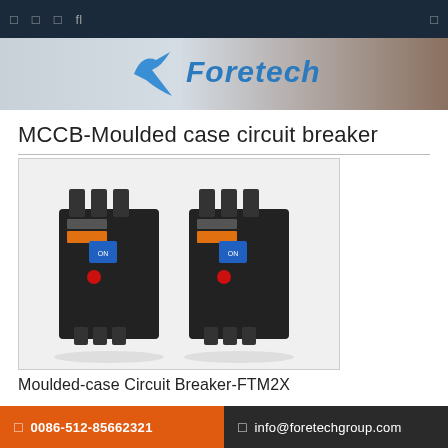Foretech - MCCB-Moulded case circuit breaker
[Figure (logo): Foretech company logo with stylized checkmark/F symbol in blue on gradient grey-brown banner background]
MCCB-Moulded case circuit breaker
[Figure (photo): Two Foretech moulded case circuit breakers (MCCB) side by side on white background, black housing with blue and red handle indicators, terminal connections visible top and bottom]
Moulded-case Circuit Breaker-FTM2X
description
0086-512-85662321   info@foretechgroup.com